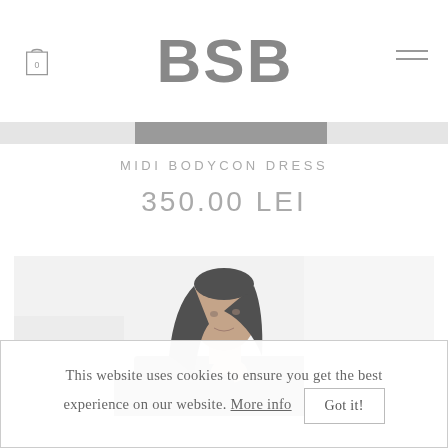BSB
[Figure (screenshot): Progress/loading bar with light grey background and darker grey filled portion]
MIDI BODYCON DRESS
350.00 LEI
[Figure (photo): Fashion model with long dark hair wearing a black top, photographed from shoulders up against a white background]
This website uses cookies to ensure you get the best experience on our website. More info Got it!